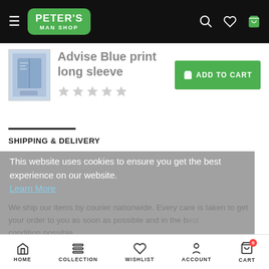Peter's Man Shop
Advise Blue print long sleeve
SHIPPING & DELIVERY
This website uses cookies to ensure you get the best experience on our website. Learn More
We ship our items by courier nationwide. Every care is taken to get your order to you as soon as possible and in the best condition possible.
HOME  COLLECTION  WISHLIST  ACCOUNT  CART